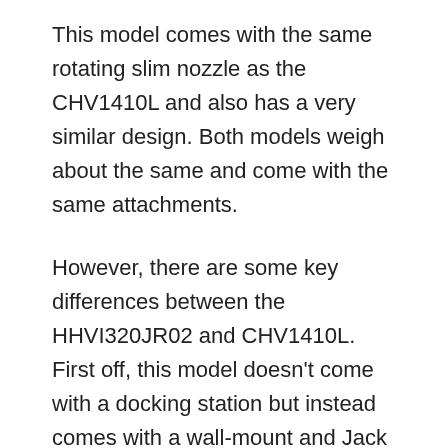This model comes with the same rotating slim nozzle as the CHV1410L and also has a very similar design. Both models weigh about the same and come with the same attachments.
However, there are some key differences between the HHVI320JR02 and CHV1410L. First off, this model doesn't come with a docking station but instead comes with a wall-mount and Jack plug charger like in the HHVI315JO42. This unit is also cheaper than the CHV1410L and slightly more expensive than the HHVI320JR02.
The BLACK+DECKER CHV1410L is the upgraded version of the HHVI320JR02 and has a more